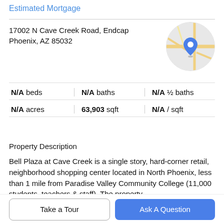Estimated Mortgage
17002 N Cave Creek Road, Endcap
Phoenix, AZ 85032
[Figure (map): Circular map thumbnail showing street map with a blue location pin marker]
| N/A beds | N/A baths | N/A ½ baths |
| N/A acres | 63,903 sqft | N/A / sqft |
Property Description
Bell Plaza at Cave Creek is a single story, hard-corner retail, neighborhood shopping center located in North Phoenix, less than 1 mile from Paradise Valley Community College (11,000 students, teachers & staff). The property is situated in a commercial area, approximately 1.5 miles
Take a Tour
Ask A Question